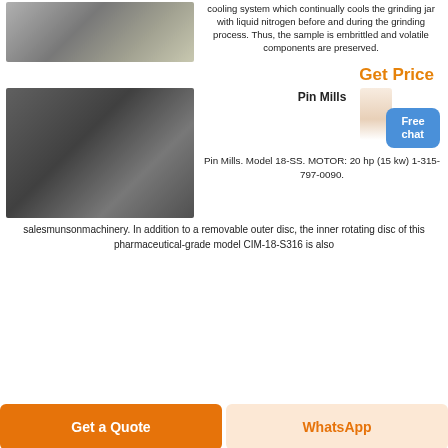[Figure (photo): Industrial factory interior with large machinery and equipment on a factory floor]
cooling system which continually cools the grinding jar with liquid nitrogen before and during the grinding process. Thus, the sample is embrittled and volatile components are preserved.
Get Price
[Figure (photo): Large vertical cylindrical pin mill machine in an industrial facility]
Pin Mills
Pin Mills. Model 18-SS. MOTOR: 20 hp (15 kw) 1-315-797-0090.
salesmunsonmachinery. In addition to a removable outer disc, the inner rotating disc of this pharmaceutical-grade model CIM-18-S316 is also
Get a Quote
WhatsApp